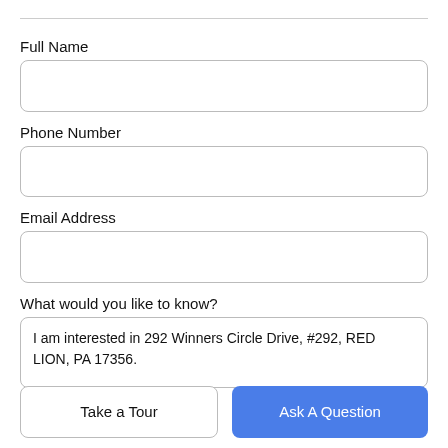Full Name
[Figure (other): Empty text input field for Full Name]
Phone Number
[Figure (other): Empty text input field for Phone Number]
Email Address
[Figure (other): Empty text input field for Email Address]
What would you like to know?
[Figure (other): Text area with pre-filled text: I am interested in 292 Winners Circle Drive, #292, RED LION, PA 17356.]
Take a Tour
Ask A Question